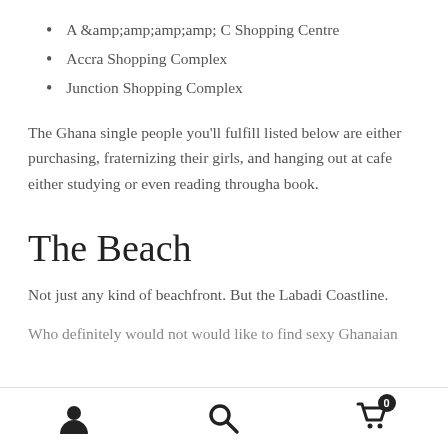A &amp;amp;amp;amp;amp; C Shopping Centre
Accra Shopping Complex
Junction Shopping Complex
The Ghana single people you’ll fulfill listed below are either purchasing, fraternizing their girls, and hanging out at cafe either studying or even reading througha book.
The Beach
Not just any kind of beachfront. But the Labadi Coastline.
Who definitely would not would like to find sexy Ghanaian